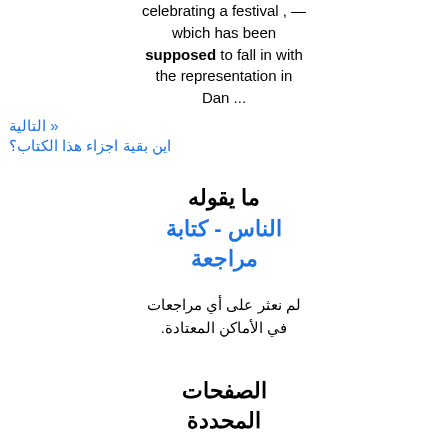celebrating a festival , — wbich has been supposed to fall in with the representation in Dan ...
« التالية
اين بقية اجزاء هذا الكتاب؟
ما يقوله الناس - كتابة مراجعة
لم نعثر على أي مراجعات في الأماكن المعتادة.
الصفحات المحددة
[Figure (photo): Book cover thumbnail image showing a grayscale photo]